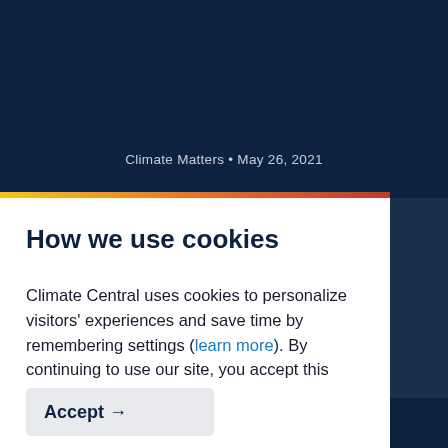Climate Matters • May 26, 2021
How we use cookies
Climate Central uses cookies to personalize visitors' experiences and save time by remembering settings (learn more). By continuing to use our site, you accept this policy.
Accept →
ES